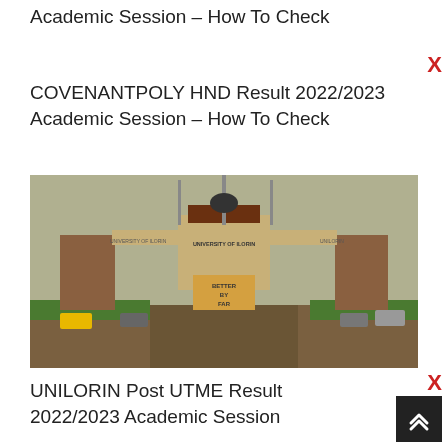Academic Session – How To Check
COVENANTPOLY HND Result 2022/2023 Academic Session – How To Check
[Figure (photo): Photograph of a university gate, likely University of Ilorin (UNILORIN), showing entrance archway with flagpoles and a sign board reading 'BETTER BY FAR']
UNILORIN Post UTME Result 2022/2023 Academic Session